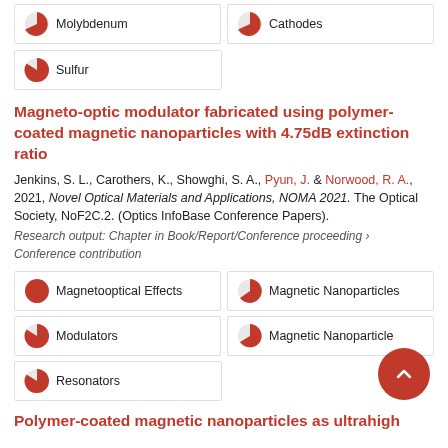Molybdenum
Cathodes
Sulfur
Magneto-optic modulator fabricated using polymer-coated magnetic nanoparticles with 4.75dB extinction ratio
Jenkins, S. L., Carothers, K., Showghi, S. A., Pyun, J. & Norwood, R. A., 2021, Novel Optical Materials and Applications, NOMA 2021. The Optical Society, NoF2C.2. (Optics InfoBase Conference Papers).
Research output: Chapter in Book/Report/Conference proceeding › Conference contribution
Magnetooptical Effects
Magnetic Nanoparticles
Modulators
Magnetic Nanoparticle
Resonators
Polymer-coated magnetic nanoparticles as ultrahigh